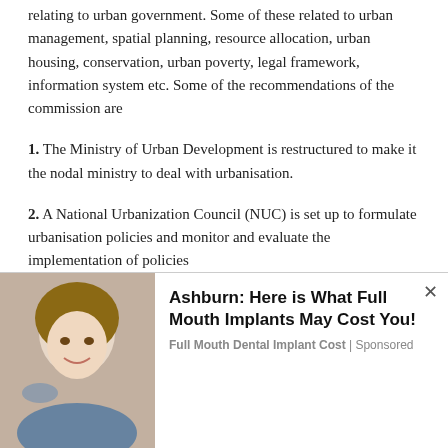relating to urban government. Some of these related to urban management, spatial planning, resource allocation, urban housing, conservation, urban poverty, legal framework, information system etc. Some of the recommendations of the commission are
1. The Ministry of Urban Development is restructured to make it the nodal ministry to deal with urbanisation.
2. A National Urbanization Council (NUC) is set up to formulate urbanisation policies and monitor and evaluate the implementation of policies
We use cookies on our website to give you the most relevant experience by remembering your preferences and repeat visits. By clicking “Accept”, you consent to the use of ALL the cookies.
Do not sell my personal information.
[Figure (photo): Advertisement showing a woman at a dental office with text: Ashburn: Here is What Full Mouth Implants May Cost You! Full Mouth Dental Implant Cost | Sponsored]